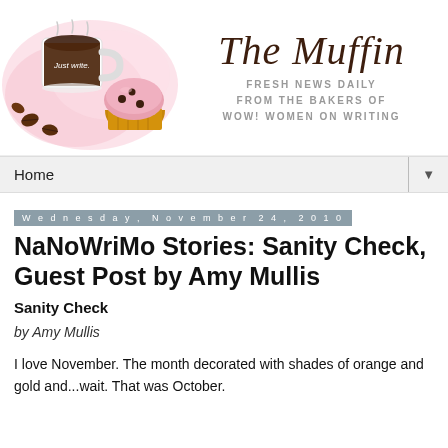[Figure (illustration): Blog header illustration showing a coffee mug with 'Just Write' text and a pink muffin with coffee beans on a pink watercolor background, alongside 'The Muffin' blog title with subtitle 'Fresh News Daily from the Bakers of WOW! Women on Writing']
Home ▼
Wednesday, November 24, 2010
NaNoWriMo Stories: Sanity Check, Guest Post by Amy Mullis
Sanity Check
by Amy Mullis
I love November. The month decorated with shades of orange and gold and...wait. That was October.